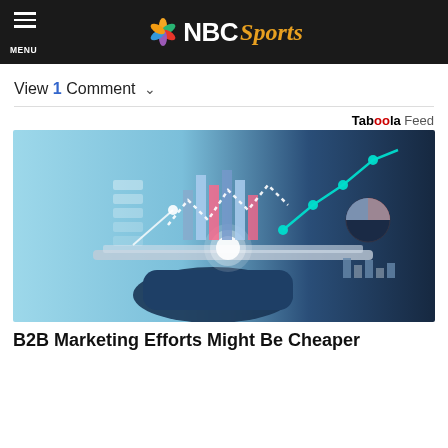MENU | NBC Sports
View 1 Comment ∨
Taboola Feed
[Figure (photo): Person in dark blue shirt holding a tablet with floating digital data charts and analytics graphics including bar charts, line charts, and pie charts on a blue background]
B2B Marketing Efforts Might Be Cheaper